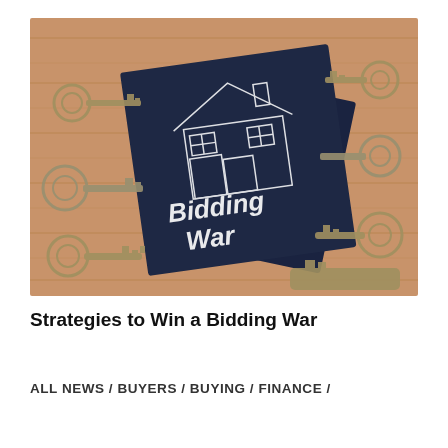[Figure (photo): Photo of dark navy blue cards/papers with a hand-drawn house illustration and the text 'Bidding War' in chalk-style lettering, surrounded by various brass house keys on a wooden surface.]
Strategies to Win a Bidding War
ALL NEWS / BUYERS / BUYING / FINANCE /